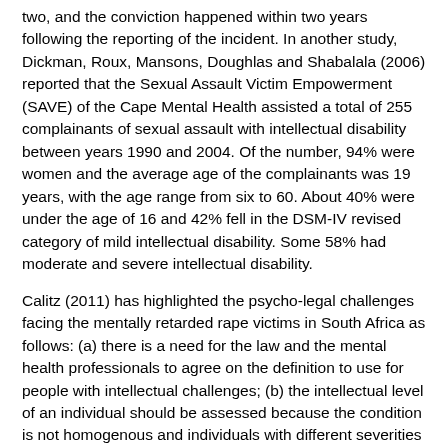two, and the conviction happened within two years following the reporting of the incident. In another study, Dickman, Roux, Mansons, Doughlas and Shabalala (2006) reported that the Sexual Assault Victim Empowerment (SAVE) of the Cape Mental Health assisted a total of 255 complainants of sexual assault with intellectual disability between years 1990 and 2004. Of the number, 94% were women and the average age of the complainants was 19 years, with the age range from six to 60. About 40% were under the age of 16 and 42% fell in the DSM-IV revised category of mild intellectual disability. Some 58% had moderate and severe intellectual disability.
Calitz (2011) has highlighted the psycho-legal challenges facing the mentally retarded rape victims in South Africa as follows: (a) there is a need for the law and the mental health professionals to agree on the definition to use for people with intellectual challenges; (b) the intellectual level of an individual should be assessed because the condition is not homogenous and individuals with different severities of the condition will have different capabilities in providing testimony; and (c) the courts...